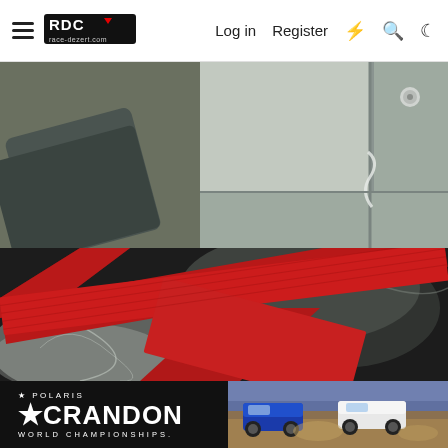RDC race-dezert.com | Log in | Register
[Figure (photo): Close-up photo of a metal corner joint on an aluminum panel, showing a bolt/rivet and a welded or riveted seam where two metal surfaces meet, with steel tube visible in the lower left.]
[Figure (photo): Close-up photo of a red woven fabric strap (seatbelt or harness webbing) crossing over itself and resting on translucent plastic wrap and dark background, showing texture of the red material.]
[Figure (photo): Advertisement banner for Polaris Crandon World Championships, showing the Crandon logo with star emblem in white text on black background, with two racing trucks on a dirt track on the right side.]